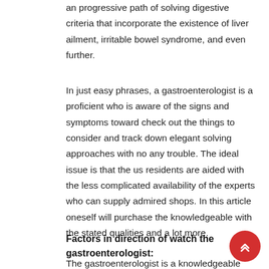an progressive path of solving digestive criteria that incorporate the existence of liver ailment, irritable bowel syndrome, and even further.
In just easy phrases, a gastroenterologist is a proficient who is aware of the signs and symptoms toward check out the things to consider and track down elegant solving approaches with no any trouble. The ideal issue is that the us residents are aided with the less complicated availability of the experts who can supply admired shops. In this article oneself will purchase the knowledgeable with the stated qualities and a lot more.
Factors in direction of watch the gastroenterologist:
The gastroenterologist is a knowledgeable